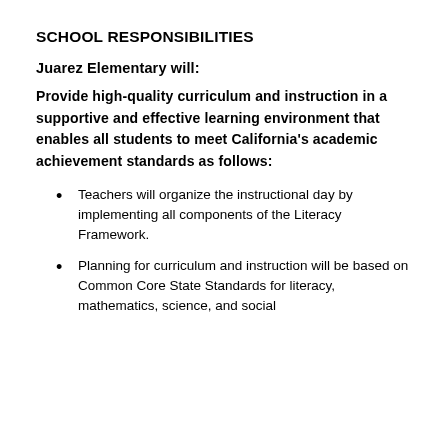SCHOOL RESPONSIBILITIES
Juarez Elementary will:
Provide high-quality curriculum and instruction in a supportive and effective learning environment that enables all students to meet California's academic achievement standards as follows:
Teachers will organize the instructional day by implementing all components of the Literacy Framework.
Planning for curriculum and instruction will be based on Common Core State Standards for literacy, mathematics, science, and social